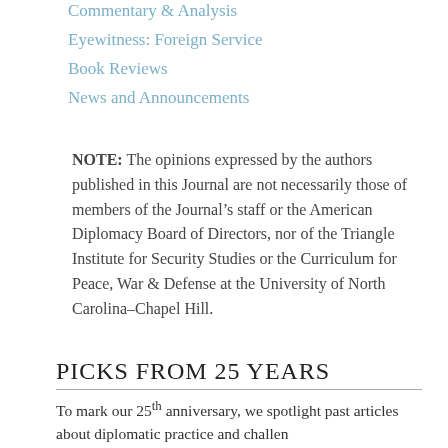Commentary & Analysis
Eyewitness: Foreign Service
Book Reviews
News and Announcements
NOTE: The opinions expressed by the authors published in this Journal are not necessarily those of members of the Journal’s staff or the American Diplomacy Board of Directors, nor of the Triangle Institute for Security Studies or the Curriculum for Peace, War & Defense at the University of North Carolina–Chapel Hill.
PICKS FROM 25 YEARS
To mark our 25th anniversary, we spotlight past articles about diplomatic practice and challenges